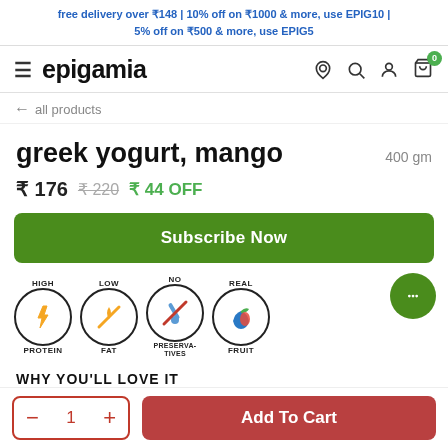free delivery over ₹148 | 10% off on ₹1000 & more, use EPIG10 | 5% off on ₹500 & more, use EPIG5
[Figure (logo): Epigamia brand logo with hamburger menu and navigation icons (location, search, user, cart with badge 0)]
← all products
greek yogurt, mango  400 gm
₹ 176  ₹ 220  ₹ 44 OFF
Subscribe Now
[Figure (infographic): Four product badges in circles: HIGH PROTEIN (lightning bolt icon), LOW FAT (fork/knife icon), NO PRESERVATIVES (crossed-out syringe icon), REAL FRUIT (fruit icon)]
WHY YOU'LL LOVE IT
− 1 +  Add To Cart